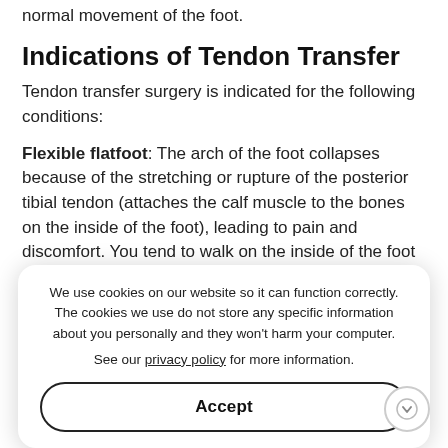normal movement of the foot.
Indications of Tendon Transfer
Tendon transfer surgery is indicated for the following conditions:
Flexible flatfoot: The arch of the foot collapses because of the stretching or rupture of the posterior tibial tendon (attaches the calf muscle to the bones on the inside of the foot), leading to pain and discomfort. You tend to walk on the inside of the foot as your foot rolls outward.
Neurological problem, Charcot-Marie-Tooth disease, nerve damage, or post-stroke paralysis may cause weakness following a stroke and there is rolling of the foot causing pain and fractures. You tend to walk on the outside of the foot as your foot rolls inward.
We use cookies on our website so it can function correctly. The cookies we use do not store any specific information about you personally and they won't harm your computer.

See our privacy policy for more information.
Accept